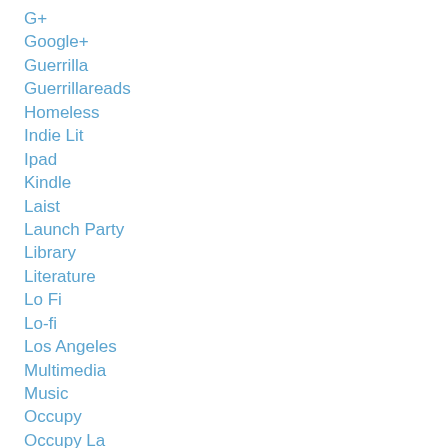G+
Google+
Guerrilla
Guerrillareads
Homeless
Indie Lit
Ipad
Kindle
Laist
Launch Party
Library
Literature
Lo Fi
Lo-fi
Los Angeles
Multimedia
Music
Occupy
Occupy La
Occupy Wall Street